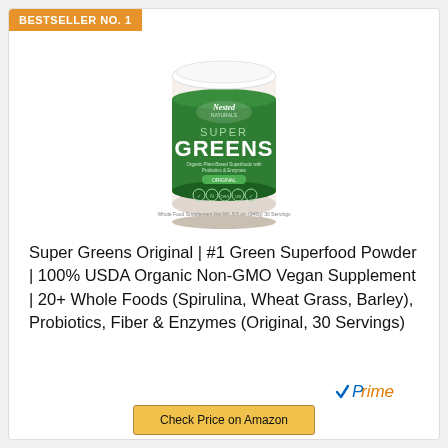BESTSELLER NO. 1
[Figure (photo): Nested Naturals Super Greens supplement powder tub with green label, white lid]
Super Greens Original | #1 Green Superfood Powder | 100% USDA Organic Non-GMO Vegan Supplement | 20+ Whole Foods (Spirulina, Wheat Grass, Barley), Probiotics, Fiber & Enzymes (Original, 30 Servings)
[Figure (logo): Amazon Prime logo with checkmark]
Check Price on Amazon